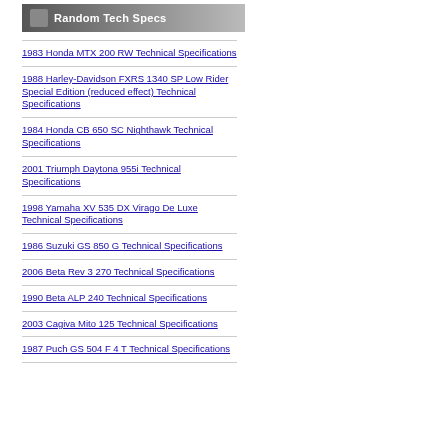Random Tech Specs
1983 Honda MTX 200 RW Technical Specifications
1988 Harley-Davidson FXRS 1340 SP Low Rider Special Edition (reduced effect) Technical Specifications
1984 Honda CB 650 SC Nighthawk Technical Specifications
2001 Triumph Daytona 955i Technical Specifications
1998 Yamaha XV 535 DX Virago De Luxe Technical Specifications
1986 Suzuki GS 850 G Technical Specifications
2006 Beta Rev 3 270 Technical Specifications
1990 Beta ALP 240 Technical Specifications
2003 Cagiva Mito 125 Technical Specifications
1987 Puch GS 504 F 4 T Technical Specifications